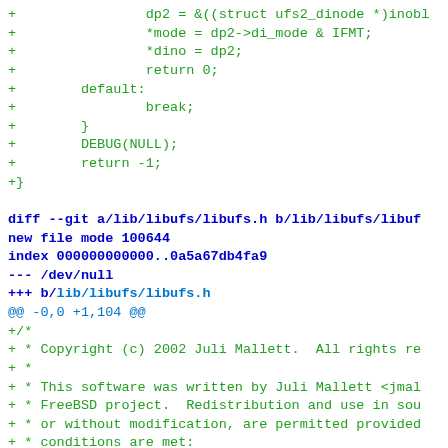Code diff showing end of a function and beginning of new file lib/libufs/libufs.h with copyright header